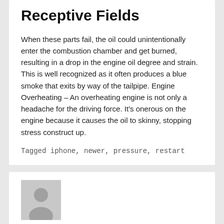Receptive Fields
When these parts fail, the oil could unintentionally enter the combustion chamber and get burned, resulting in a drop in the engine oil degree and strain. This is well recognized as it often produces a blue smoke that exits by way of the tailpipe. Engine Overheating – An overheating engine is not only a headache for the driving force. It's onerous on the engine because it causes the oil to skinny, stopping stress construct up.
Tagged iphone, newer, pressure, restart
[Figure (illustration): Grey placeholder avatar icon with a silhouette of a person on a light grey background square]